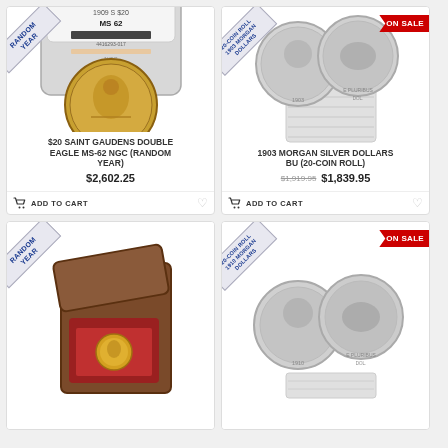[Figure (photo): 1909-S $20 Saint Gaudens gold coin in NGC MS-62 plastic slab holder]
$20 SAINT GAUDENS DOUBLE EAGLE MS-62 NGC (RANDOM YEAR)
$2,602.25
[Figure (photo): 1903 Morgan Silver Dollar 20-coin roll, showing obverse and reverse of coin with tube of coins]
1903 MORGAN SILVER DOLLARS BU (20-COIN ROLL)
$1,919.95 $1,839.95
[Figure (photo): Random year gold coin in wooden presentation box]
[Figure (photo): Morgan Silver Dollar 20-coin roll on sale, showing both faces of coin]